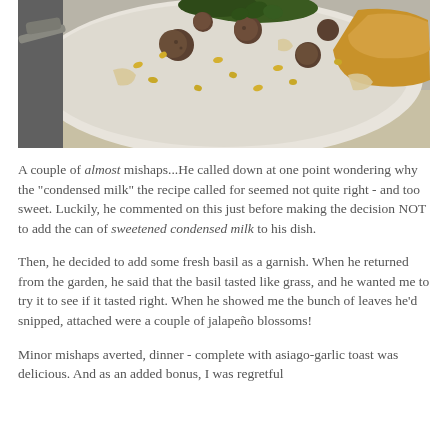[Figure (photo): Overhead close-up photo of a creamy soup or chowder in a white bowl, containing meatballs, corn kernels, potato chunks, and garnished with dark green herbs. A spoon is visible on the left side and a piece of toasted bread is on the right.]
A couple of almost mishaps...He called down at one point wondering why the "condensed milk" the recipe called for seemed not quite right - and too sweet. Luckily, he commented on this just before making the decision NOT to add the can of sweetened condensed milk to his dish.
Then, he decided to add some fresh basil as a garnish. When he returned from the garden, he said that the basil tasted like grass, and he wanted me to try it to see if it tasted right. When he showed me the bunch of leaves he'd snipped, attached were a couple of jalapeño blossoms!
Minor mishaps averted, dinner - complete with asiago-garlic toast was delicious. And as an added bonus, I was regretful